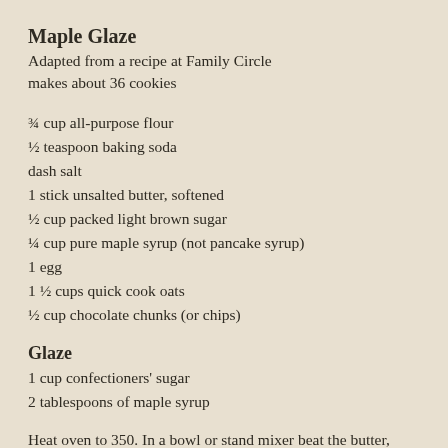Maple Glaze
Adapted from a recipe at Family Circle
makes about 36 cookies
¾ cup all-purpose flour
½ teaspoon baking soda
dash salt
1 stick unsalted butter, softened
½ cup packed light brown sugar
¼ cup pure maple syrup (not pancake syrup)
1 egg
1 ½ cups quick cook oats
½ cup chocolate chunks (or chips)
Glaze
1 cup confectioners' sugar
2 tablespoons of maple syrup
Heat oven to 350. In a bowl or stand mixer beat the butter, sugar and maple syrup for 3 minutes. Beat in the egg until just combined. Stir in the oats chocolate chunks.